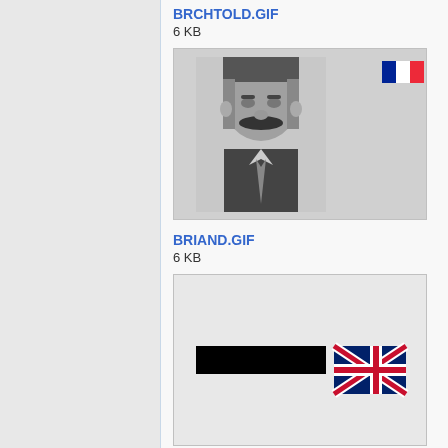BRCHTOLD.GIF
6 KB
[Figure (photo): Black and white portrait photograph of a man with a mustache, with a small French flag (blue, white, red) in the upper right corner of the image box]
BRIAND.GIF
6 KB
[Figure (illustration): Image box showing a black horizontal bar with a Union Jack (UK flag) to its right]
BRITHOLD.GIF
1,002 bytes